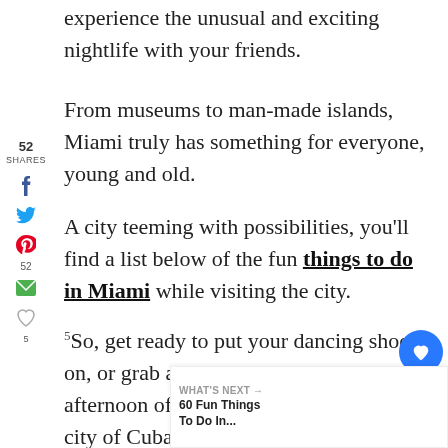experience the unusual and exciting nightlife with your friends.
From museums to man-made islands, Miami truly has something for everyone, young and old.
A city teeming with possibilities, you'll find a list below of the fun things to do in Miami while visiting the city.
So, get ready to put your dancing shoes on, or grab a blanket and some sunscr... afternoon of relaxing beach time in the city of Cuban sandwiches, neon lights, and crystal...